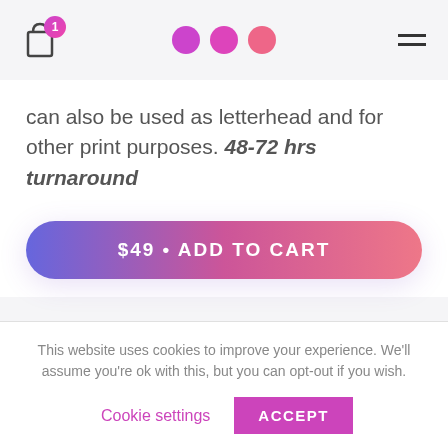[Figure (screenshot): Navigation header with cart icon (badge showing 1), three pink/magenta dots, and hamburger menu icon]
can also be used as letterhead and for other print purposes. 48-72 hrs turnaround
[Figure (other): Add to cart button with gradient from purple to pink, text '$49 • ADD TO CART']
+ What do I get & What do I need?
This website uses cookies to improve your experience. We'll assume you're ok with this, but you can opt-out if you wish.
Cookie settings   ACCEPT